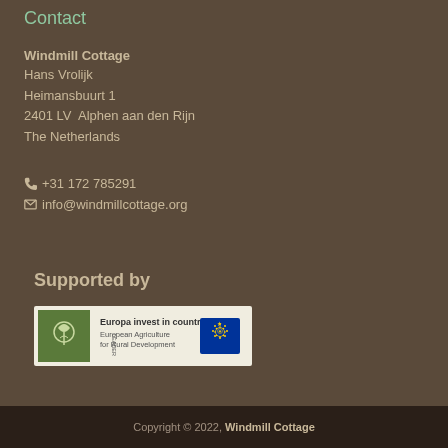Contact
Windmill Cottage
Hans Vrolijk
Heimansbuurt 1
2401 LV  Alphen aan den Rijn
The Netherlands
+31 172 785291
info@windmillcottage.org
Supported by
[Figure (logo): Europa invest in countryside - European Agriculture for Rural Development EU logo]
Copyright © 2022, Windmill Cottage